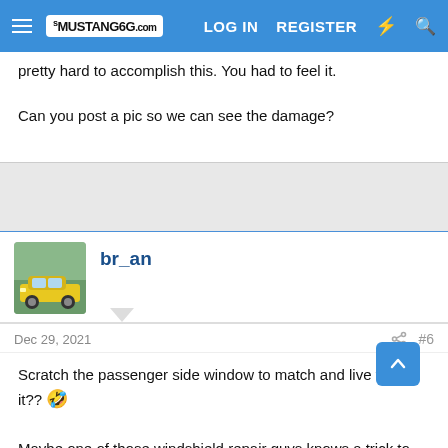Mustang6G.com — LOG IN  REGISTER
pretty hard to accomplish this. You had to feel it.

Can you post a pic so we can see the damage?
[Figure (screenshot): Gray advertisement/separator area]
br_an
Dec 29, 2021  #6
Scratch the passenger side window to match and live with it?? 🤣

Maybe one of those windshield repair guys knows a trick to get it out. I would be careful trying to "fix" it with a polisher